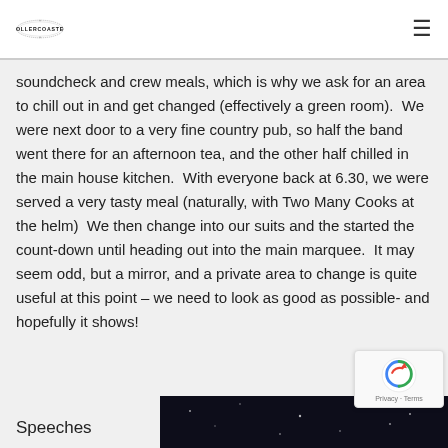ROLLERCOASTER
soundcheck and crew meals, which is why we ask for an area to chill out in and get changed (effectively a green room).  We were next door to a very fine country pub, so half the band went there for an afternoon tea, and the other half chilled in the main house kitchen.  With everyone back at 6.30, we were served a very tasty meal (naturally, with Two Many Cooks at the helm)  We then change into our suits and the started the count-down until heading out into the main marquee.  It may seem odd, but a mirror, and a private area to change is quite useful at this point – we need to look as good as possible- and hopefully it shows!
Speeches
[Figure (photo): Dark photo with sparkle/light effects, partially visible at bottom right of page]